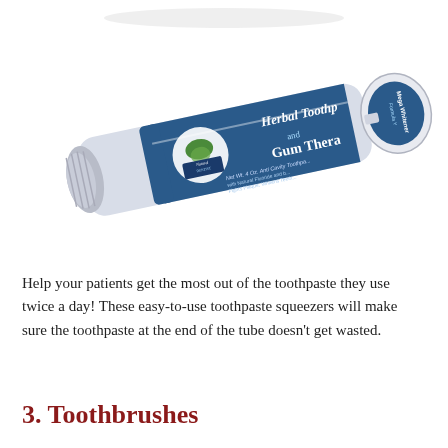[Figure (photo): A tube of The Natural Dentist Herbal Toothpaste and Gum Therapy, Anti Cavity Toothpaste with Natural Fluoride, Net Wt. 4 Oz., shown at an angle with a toothpaste squeezer/roller device attached to the end of the tube.]
Help your patients get the most out of the toothpaste they use twice a day! These easy-to-use toothpaste squeezers will make sure the toothpaste at the end of the tube doesn't get wasted.
3. Toothbrushes